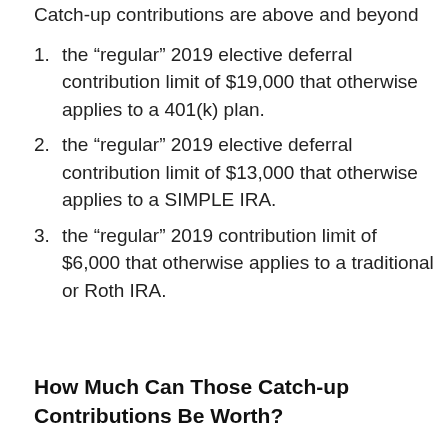Catch-up contributions are above and beyond
the “regular” 2019 elective deferral contribution limit of $19,000 that otherwise applies to a 401(k) plan.
the “regular” 2019 elective deferral contribution limit of $13,000 that otherwise applies to a SIMPLE IRA.
the “regular” 2019 contribution limit of $6,000 that otherwise applies to a traditional or Roth IRA.
How Much Can Those Catch-up Contributions Be Worth?